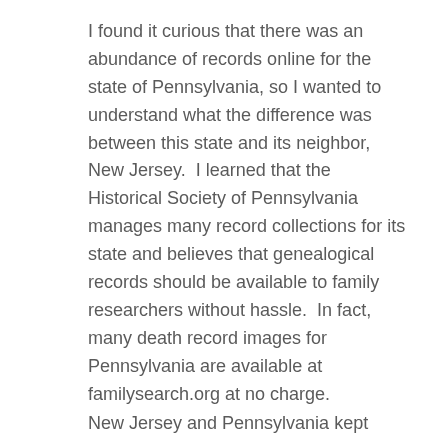I found it curious that there was an abundance of records online for the state of Pennsylvania, so I wanted to understand what the difference was between this state and its neighbor, New Jersey.  I learned that the Historical Society of Pennsylvania manages many record collections for its state and believes that genealogical records should be available to family researchers without hassle.  In fact, many death record images for Pennsylvania are available at familysearch.org at no charge.
New Jersey and Pennsylvania kept